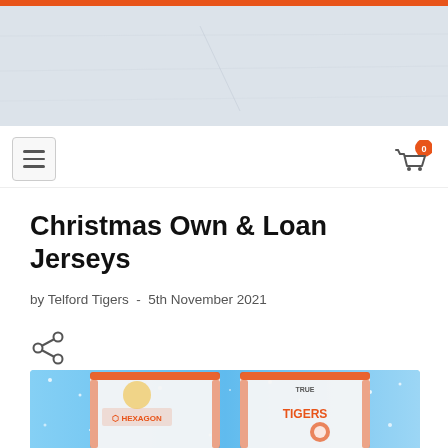[Figure (photo): Orange top bar and light blue-grey textured header banner area of a sports club website]
[Figure (screenshot): Navigation bar with hamburger menu icon on left and shopping cart icon with badge showing 0 on right]
Christmas Own & Loan Jerseys
by Telford Tigers - 5th November 2021
[Figure (illustration): Share icon (less-than arrow style)]
[Figure (photo): Two Telford Tigers ice hockey jerseys on a snowy light blue background. Left jersey shows HEXAGON sponsor. Right jersey shows TIGERS text and TRUE branding. Both are white with orange trim.]